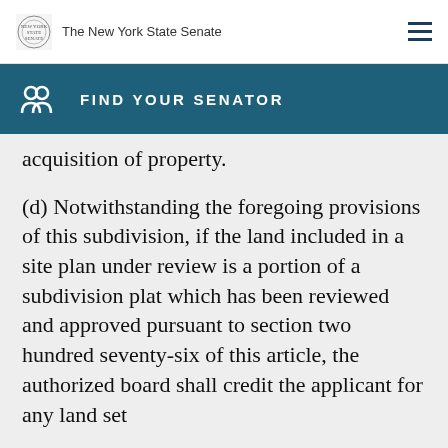The New York State Senate
FIND YOUR SENATOR
acquisition of property.
(d) Notwithstanding the foregoing provisions of this subdivision, if the land included in a site plan under review is a portion of a subdivision plat which has been reviewed and approved pursuant to section two hundred seventy-six of this article, the authorized board shall credit the applicant for any land set